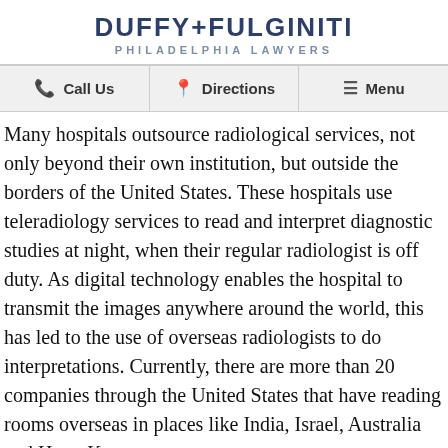DUFFY+FULGINITI
PHILADELPHIA LAWYERS
Call Us   Directions   Menu
Many hospitals outsource radiological services, not only beyond their own institution, but outside the borders of the United States. These hospitals use teleradiology services to read and interpret diagnostic studies at night, when their regular radiologist is off duty. As digital technology enables the hospital to transmit the images anywhere around the world, this has led to the use of overseas radiologists to do interpretations. Currently, there are more than 20 companies through the United States that have reading rooms overseas in places like India, Israel, Australia and Hong Kong.
There are some obvious drawbacks to teleradiology, including the lack of communication between the clinician and the doctor